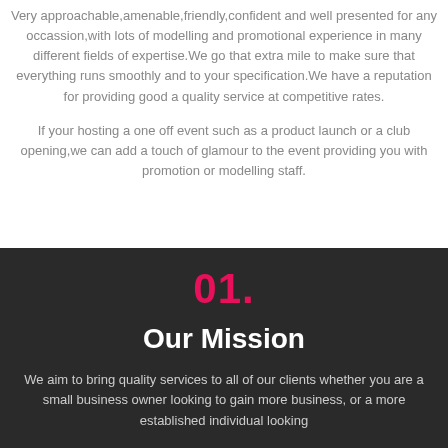Very approachable,amenable,friendly,confident and well presented for any occassion,with lots of modelling and promotional experience in many different fields of expertise.We go that extra mile to make sure that everything runs smoothly and to your specification.We have a reputation for providing good a quality service at competitive rates.
If your hosting a one off event such as a product launch or a club opening,we can add a touch of glamour to the event providing you with promotion or modelling staff.
01.
Our Mission
We aim to bring quality services to all of our clients whether you are a small business owner looking to gain more business, or a more established individual looking